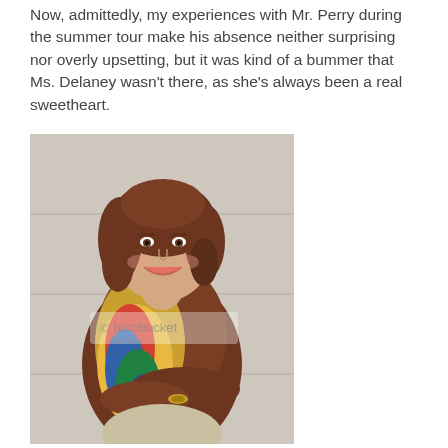Now, admittedly, my experiences with Mr. Perry during the summer tour make his absence neither surprising nor overly upsetting, but it was kind of a bummer that Ms. Delaney wasn't there, as she's always been a real sweetheart.
[Figure (photo): A woman with brown curly hair smiling, wearing a brown leather jacket and a colorful floral scarf, arms crossed. Photobucket watermark visible.]